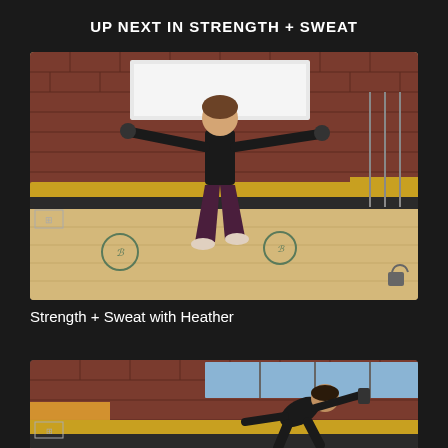UP NEXT IN STRENGTH + SWEAT
[Figure (screenshot): Video thumbnail showing a woman in a dance/barre studio doing a squat exercise with arms extended holding weights. Brick walls, wooden barre, and wood floor with studio logo visible.]
Strength + Sweat with Heather
[Figure (screenshot): Partial video thumbnail showing a person in a barre studio leaning forward near the barre, brick wall and windows in background.]